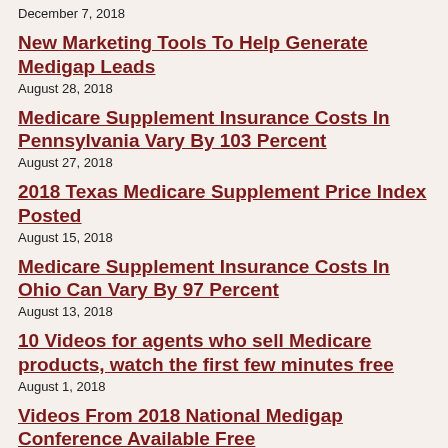December 7, 2018
New Marketing Tools To Help Generate Medigap Leads
August 28, 2018
Medicare Supplement Insurance Costs In Pennsylvania Vary By 103 Percent
August 27, 2018
2018 Texas Medicare Supplement Price Index Posted
August 15, 2018
Medicare Supplement Insurance Costs In Ohio Can Vary By 97 Percent
August 13, 2018
10 Videos for agents who sell Medicare products, watch the first few minutes free
August 1, 2018
Videos From 2018 National Medigap Conference Available Free